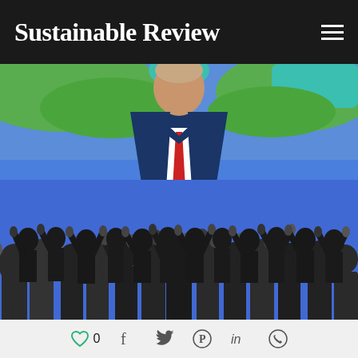Sustainable Review
[Figure (illustration): Illustration of a politician/speaker (dark blue suit, red tie, no visible face) standing above a crowd of cheering people silhouettes with raised hands. Background shows a globe/world map in green with blue sky/water. The crowd below is rendered as dark gray-black silhouettes against a bright blue background.]
0  (heart icon, facebook, twitter, pinterest, linkedin, whatsapp social share icons)